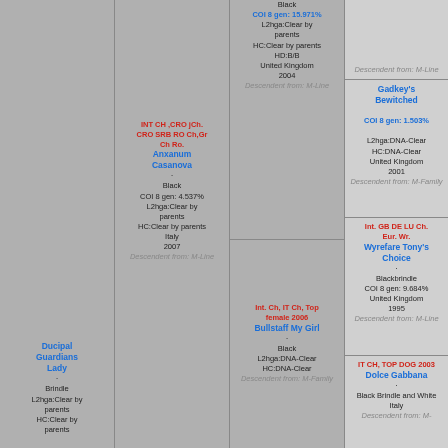Ducipal Guardians Lady • Brindle L2hga:Clear by parents HC:Clear by parents
INT CH ,CRO jCh. CRO SRB RO Ch,Gr Ch Ro. Anxanum Casanova • Black COI 8 gen: 4.537% L2hga:Clear by parents HC:Clear by parents Italy 2007 Descendent from: M-Line
Black COI 8 gen: 15.971% L2hga:Clear by parents HC:Clear by parents HD:B/B United Kingdom 2004 Descendent from: M-Line
Gadkey's Bewitched COI 8 gen: 1.503% L2hga:DNA-Clear HC:DNA-Clear United Kingdom 2001 Descendent from: M-Family
Int. Ch, IT Ch, Top female 2006 Bullstaff My Girl • Black L2hga:DNA-Clear HC:DNA-Clear Descendent from: M-Family
Int. GB DE LU Ch. Eur. Wr. Wyrefare Tony's Choice • Blackbrindle COI 8 gen: 9.684% United Kingdom 1995 Descendent from: M-Line
IT CH, TOP DOG 2003 Dolce Gabbana • Black Brindle and White Italy Descendent from: M-